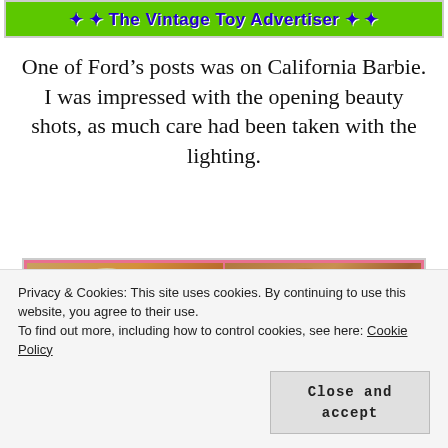[Figure (screenshot): Green banner with bold blue text, partially visible website header for a vintage toy collector blog]
One of Ford’s posts was on California Barbie. I was impressed with the opening beauty shots, as much care had been taken with the lighting.
[Figure (photo): Two side-by-side close-up photos of a California Barbie doll head showing hair styling detail, with a pink border]
Privacy & Cookies: This site uses cookies. By continuing to use this website, you agree to their use.
To find out more, including how to control cookies, see here: Cookie Policy
Close and accept